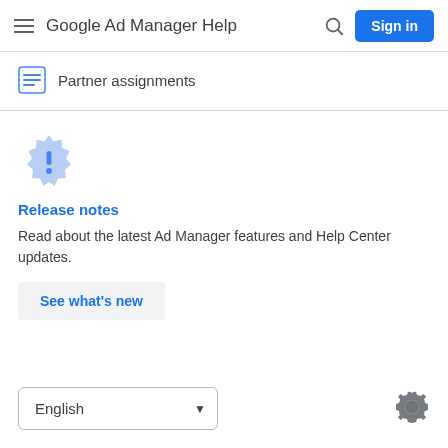Google Ad Manager Help
Partner assignments
[Figure (infographic): Blue badge/starburst icon with exclamation mark]
Release notes
Read about the latest Ad Manager features and Help Center updates.
See what's new
English
[Figure (other): Dark mode toggle icon (half-circle moon gear shape)]